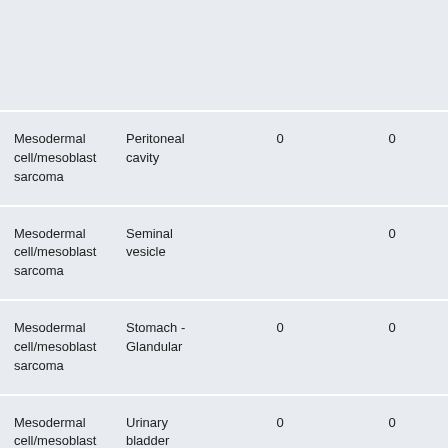|  |  |  |  |
| --- | --- | --- | --- |
| Mesodermal cell/mesoblast sarcoma | Peritoneal cavity | 0 | 0 |
| Mesodermal cell/mesoblast sarcoma | Seminal vesicle |  | 0 |
| Mesodermal cell/mesoblast sarcoma | Stomach - Glandular | 0 | 0 |
| Mesodermal cell/mesoblast sarcoma | Urinary bladder | 0 | 0 |